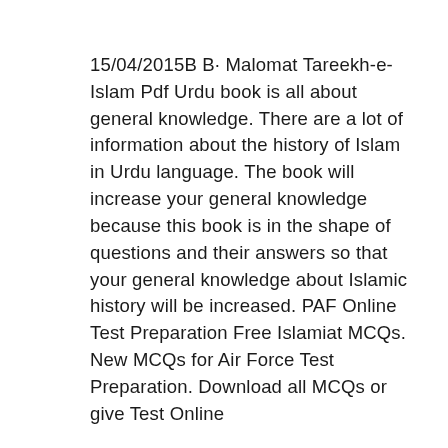15/04/2015B B· Malomat Tareekh-e-Islam Pdf Urdu book is all about general knowledge. There are a lot of information about the history of Islam in Urdu language. The book will increase your general knowledge because this book is in the shape of questions and their answers so that your general knowledge about Islamic history will be increased. PAF Online Test Preparation Free Islamiat MCQs. New MCQs for Air Force Test Preparation. Download all MCQs or give Test Online
DOWNLOAD ISLAM BELIEFS AND PRACTICES YASMIN MALIK islam beliefs and practices pdf Islam (Arabic: